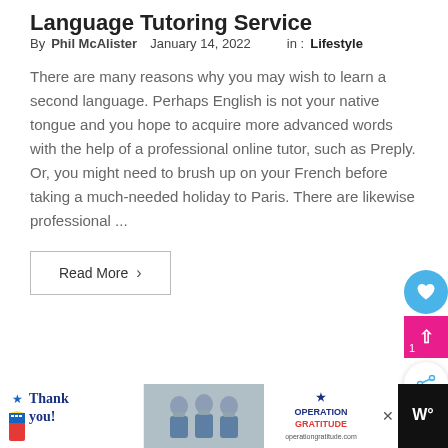Language Tutoring Service
By Phil McAlister   January 14, 2022   in :  Lifestyle
There are many reasons why you may wish to learn a second language. Perhaps English is not your native tongue and you hope to acquire more advanced words with the help of a professional online tutor, such as Preply. Or, you might need to brush up on your French before taking a much-needed holiday to Paris. There are likewise professional ...
Read More >
[Figure (other): Thank You Operation Gratitude advertisement banner at the bottom of the page, showing handwritten thank you text with American flag design, nurses holding boxes, and Operation Gratitude logo]